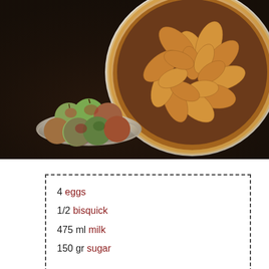[Figure (photo): Overhead view of an apple pie with decorative leaf-shaped pastry crust, next to a bowl of fresh green and red apples, on a dark wooden table.]
4 eggs
1/2 bisquick
475 ml milk
150 gr sugar